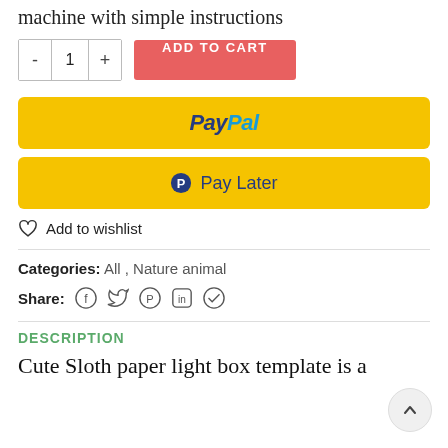machine with simple instructions
[Figure (screenshot): E-commerce product page section showing quantity selector, Add to Cart button, PayPal button, Pay Later button, Add to wishlist link, categories, share icons, DESCRIPTION section header, and beginning of description text]
Categories: All, Nature animal
Share: (social icons: Facebook, Twitter, Pinterest, LinkedIn, Telegram)
DESCRIPTION
Cute Sloth paper light box template is a